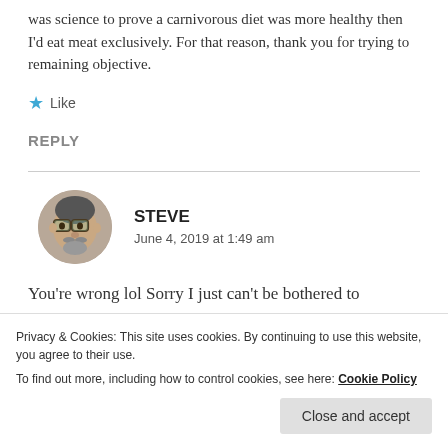was science to prove a carnivorous diet was more healthy then I'd eat meat exclusively. For that reason, thank you for trying to remaining objective.
★ Like
REPLY
STEVE
June 4, 2019 at 1:49 am
You're wrong lol Sorry I just can't be bothered to
Privacy & Cookies: This site uses cookies. By continuing to use this website, you agree to their use.
To find out more, including how to control cookies, see here: Cookie Policy
Close and accept